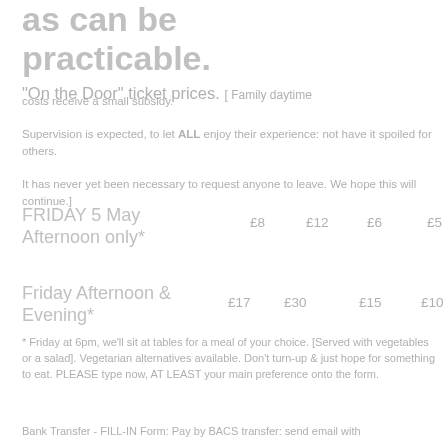as can be practicable.
with 2 adults   with 1 adult   retired)
"On the Door" ticket prices.
[ Family daytime costs receive a small subsidy. Supervision is expected, to let ALL enjoy their experience: not have it spoiled for others. It has never yet been necessary to request anyone to leave. We hope this will continue.]
FRIDAY 5 May Afternoon only*    £8    £12    £6    £5
Friday Afternoon & Evening*    £17    £30    £15    £10
* Friday at 6pm, we'll sit at tables for a meal of your choice. [Served with vegetables or a salad]. Vegetarian alternatives available. Don't turn-up & just hope for something to eat. PLEASE type now, AT LEAST your main preference onto the form.
Bank Transfer - FILL-IN Form: Pay by BACS transfer: send email with